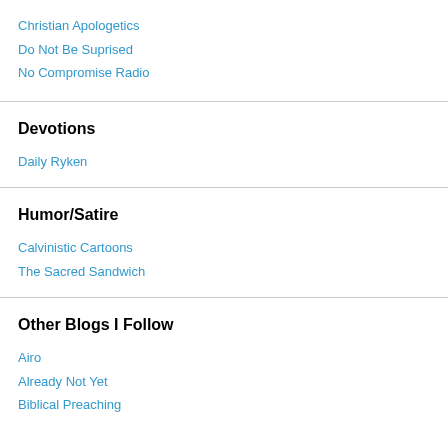Christian Apologetics
Do Not Be Suprised
No Compromise Radio
Devotions
Daily Ryken
Humor/Satire
Calvinistic Cartoons
The Sacred Sandwich
Other Blogs I Follow
Airo
Already Not Yet
Biblical Preaching